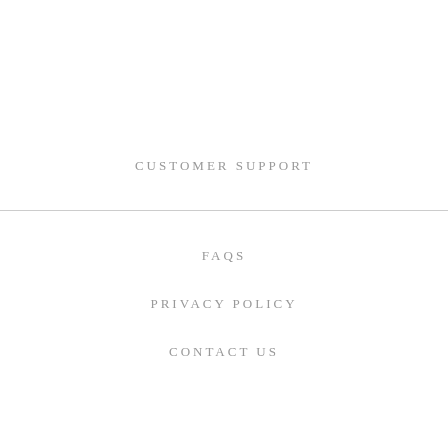CUSTOMER SUPPORT
FAQS
PRIVACY POLICY
CONTACT US